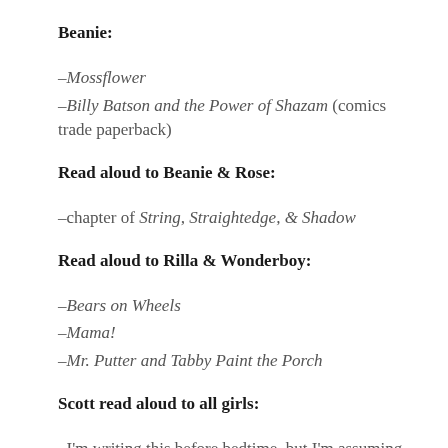Beanie:
–Mossflower
–Billy Batson and the Power of Shazam (comics trade paperback)
Read aloud to Beanie & Rose:
–chapter of String, Straightedge, & Shadow
Read aloud to Rilla & Wonderboy:
–Bears on Wheels
–Mama!
–Mr. Putter and Tabby Paint the Porch
Scott read aloud to all girls:
–I'm writing this before bedtime, but I'm assuming he's going to read them a chapter of their current read-